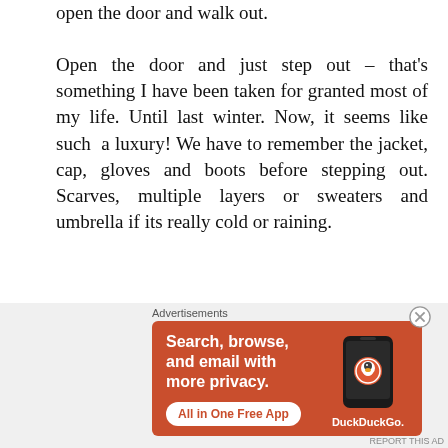open the door and walk out.
Open the door and just step out – that's something I have been taken for granted most of my life. Until last winter. Now, it seems like such a luxury! We have to remember the jacket, cap, gloves and boots before stepping out. Scarves, multiple layers or sweaters and umbrella if its really cold or raining.
Boy! I am never going to take Summer for granted! But like everything in life, you learn to adapt and enjoy, even biting cold weather, if it lasts long enough. I am a lot better than I was last year. And I
[Figure (infographic): DuckDuckGo advertisement banner with orange background. Text reads 'Search, browse, and email with more privacy. All in One Free App' with a phone image showing the DuckDuckGo logo.]